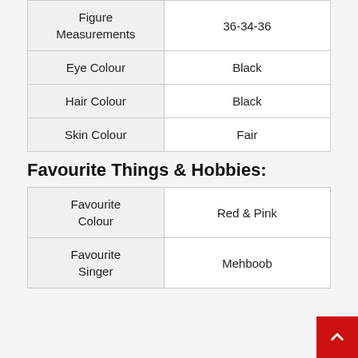| Attribute | Value |
| --- | --- |
| Figure Measurements | 36-34-36 |
| Eye Colour | Black |
| Hair Colour | Black |
| Skin Colour | Fair |
Favourite Things & Hobbies:
| Attribute | Value |
| --- | --- |
| Favourite Colour | Red & Pink |
| Favourite Singer | Mehboob |